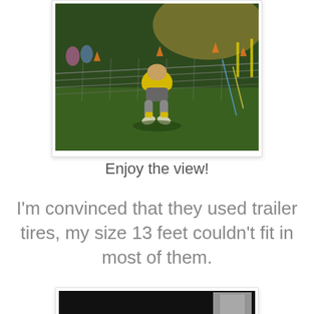[Figure (photo): Person crawling under a net obstacle during an obstacle course race at night. Person wearing yellow top and gray shorts is seen from behind crawling under a chain-link or rope net on green grass. Orange cones and spectators visible in background.]
Enjoy the view!
I'm convinced that they used trailer tires, my size 13 feet couldn't fit in most of them.
[Figure (photo): Bottom portion of a second photo, showing a dark/night scene, partially cut off at bottom of page.]